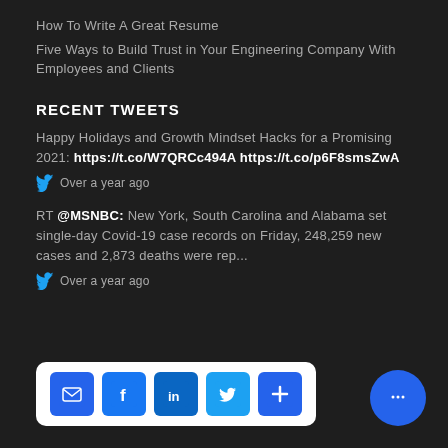How To Write A Great Resume
Five Ways to Build Trust in Your Engineering Company With Employees and Clients
RECENT TWEETS
Happy Holidays and Growth Mindset Hacks for a Promising 2021: https://t.co/W7QRCc494A https://t.co/p6F8smsZwA
Over a year ago
RT @MSNBC: New York, South Carolina and Alabama set single-day Covid-19 case records on Friday, 248,259 new cases and 2,873 deaths were rep...
Over a year ago